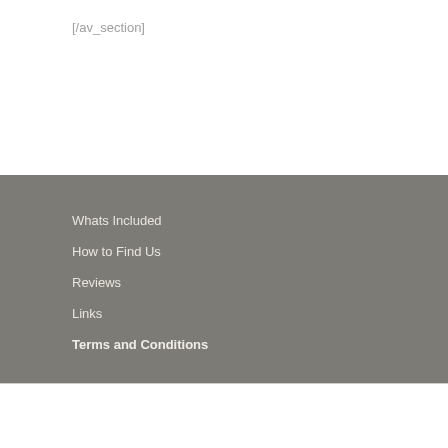[/av_section]
Whats Included
How to Find Us
Reviews
Links
Terms and Conditions
[Figure (other): Loading spinner icon, a partial circle arc suggesting a spinning/loading animation]
© Copyright - Ardrhu - powered by Enfold WordPress Theme | Whats Included | How to Find Us | Reviews | Links | Terms and Conditions